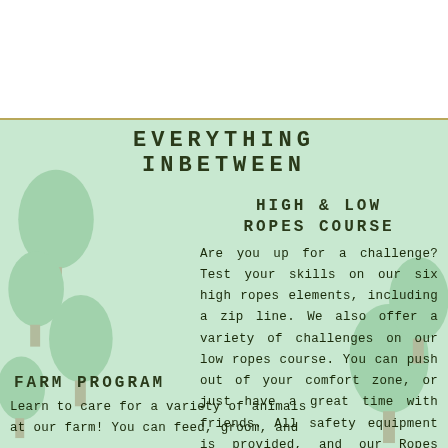[Figure (logo): Hamburger menu icon with three dark olive horizontal bars]
[Figure (logo): PeQuot SherWood Day Camp logo with orange and olive text and leaf icon]
EVERYTHING INBETWEEN
HIGH & LOW ROPES COURSE
Are you up for a challenge? Test your skills on our six high ropes elements, including a zip line. We also offer a variety of challenges on our low ropes course. You can push out of your comfort zone, or just have a great time with friends. All safety equipment is provided, and our Ropes Course staff will make sure you are ready before you head up into the trees!
FARM PROGRAM
Learn to care for a variety of animals at our farm! You can feed, groom, and